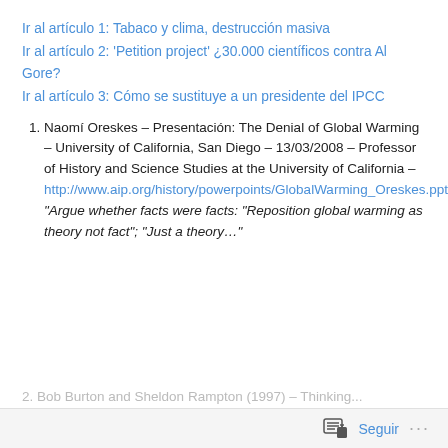Ir al artículo 1: Tabaco y clima, destrucción masiva
Ir al artículo 2: 'Petition project' ¿30.000 científicos contra Al Gore?
Ir al artículo 3: Cómo se sustituye a un presidente del IPCC
1. Naomí Oreskes – Presentación: The Denial of Global Warming – University of California, San Diego – 13/03/2008 – Professor of History and Science Studies at the University of California – http://www.aip.org/history/powerpoints/GlobalWarming_Oreskes.ppt "Argue whether facts were facts: "Reposition global warming as theory not fact"; "Just a theory…"
2. Bob Burton and Sheldon Rampton (1997) – Thinking…
Seguir